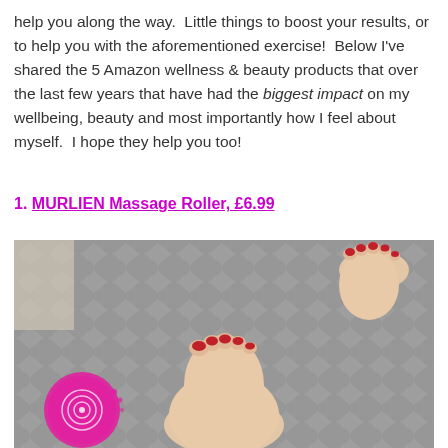help you along the way.  Little things to boost your results, or to help you with the aforementioned exercise!  Below I've shared the 5 Amazon wellness & beauty products that over the last few years that have had the biggest impact on my wellbeing, beauty and most importantly how I feel about myself.  I hope they help you too!
1. MURLIEN Massage Roller, £6.99
[Figure (photo): Photo of two bare feet with red painted toenails resting on a grey textured massage mat/roller mat. A pink circular logo watermark is visible in the bottom-left corner of the image.]